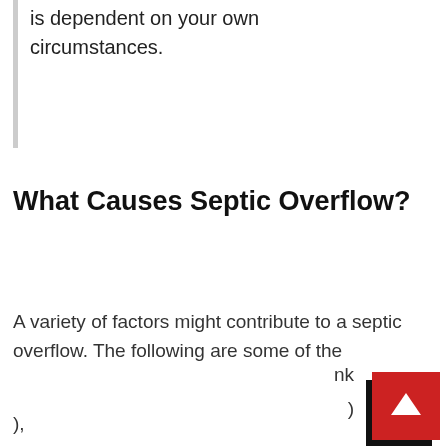is dependent on your own circumstances.
What Causes Septic Overflow?
A variety of factors might contribute to a septic overflow. The following are some of the
nk
),